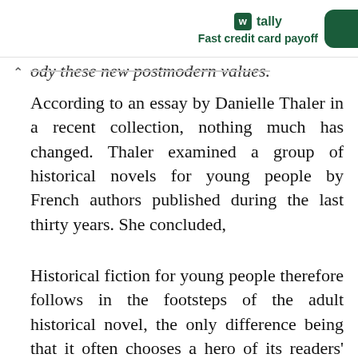tally — Fast credit card payoff
…ody these new postmodern values. According to an essay by Danielle Thaler in a recent collection, nothing much has changed. Thaler examined a group of historical novels for young people by French authors published during the last thirty years. She concluded,
Historical fiction for young people therefore follows in the footsteps of the adult historical novel, the only difference being that it often chooses a hero of its readers' age, who has a mentality, and